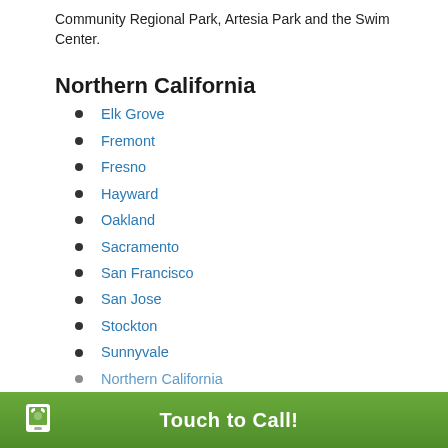Community Regional Park, Artesia Park and the Swim Center.
Northern California
Elk Grove
Fremont
Fresno
Hayward
Oakland
Sacramento
San Francisco
San Jose
Stockton
Sunnyvale
Northern California
Touch to Call!